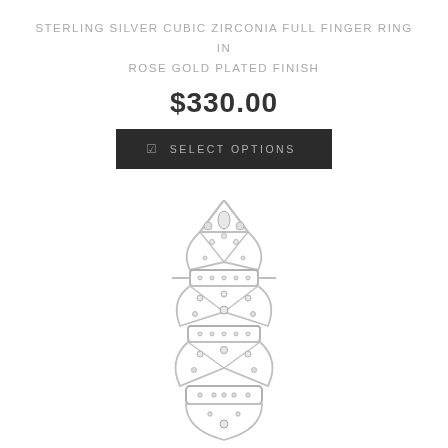STERLING SILVER CUBIC ZIRCONIA FULL FINGER RING IN ROSE GOLD PLATED FINISH
$330.00
SELECT OPTIONS
[Figure (photo): Sterling silver cubic zirconia full finger ring in rose gold plated finish — an elaborate lattice/lace-style silver ring set with cubic zirconia stones, shown from the top view covering a full finger length.]